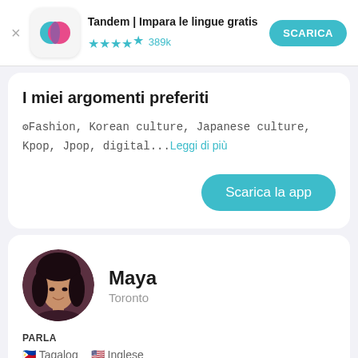[Figure (screenshot): App store banner showing Tandem language app with icon, star rating, and download button]
I miei argomenti preferiti
Fashion, Korean culture, Japanese culture, Kpop, Jpop, digital...Leggi di più
Scarica la app
[Figure (photo): Profile photo of Maya, a young woman with dark hair, smiling]
Maya
Toronto
PARLA
Tagalog   Inglese